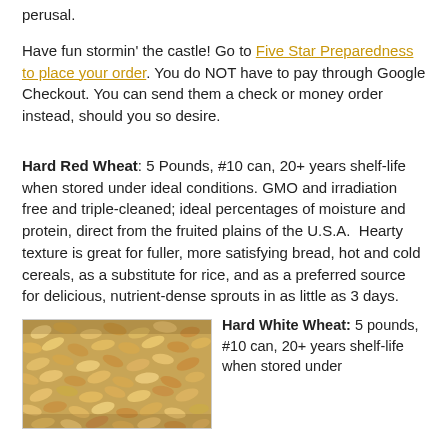perusal.
Have fun stormin' the castle! Go to Five Star Preparedness to place your order. You do NOT have to pay through Google Checkout. You can send them a check or money order instead, should you so desire.
Hard Red Wheat: 5 Pounds, #10 can, 20+ years shelf-life when stored under ideal conditions. GMO and irradiation free and triple-cleaned; ideal percentages of moisture and protein, direct from the fruited plains of the U.S.A.  Hearty texture is great for fuller, more satisfying bread, hot and cold cereals, as a substitute for rice, and as a preferred source for delicious, nutrient-dense sprouts in as little as 3 days.
[Figure (photo): Close-up photo of hard white wheat grains]
Hard White Wheat: 5 pounds, #10 can, 20+ years shelf-life when stored under